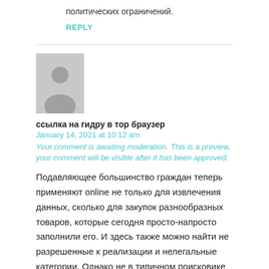политических ограничений.
REPLY
[Figure (illustration): Generic user avatar placeholder — grey rectangle with silhouette of a person]
ссылка на гидру в тор браузер
January 14, 2021 at 10:12 am
Your comment is awaiting moderation. This is a preview, your comment will be visible after it has been approved.
Подавляющее большинство граждан теперь применяют online не только для извлечения данных, сколько для закупок разнообразных товаров, которые сегодня просто-напросто заполнили его. И здесь также можно найти не разрешенные к реализации и нелегальные категории. Однако не в типичном поисковике